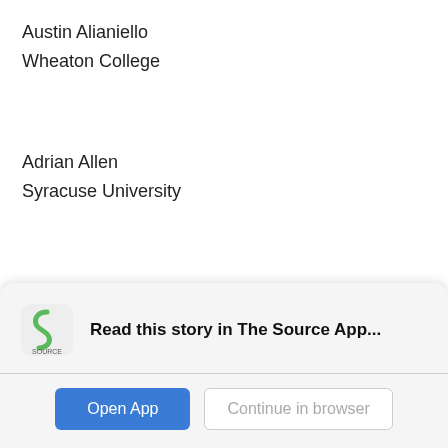Austin Alianiello
Wheaton College
Adrian Allen
Syracuse University
Jessica Ambrose
Columbia University
[Figure (screenshot): App download banner with Student News Source logo, text 'Read this story in The Source App...', and two buttons: 'Open App' (blue) and 'Continue in browser' (outlined)]